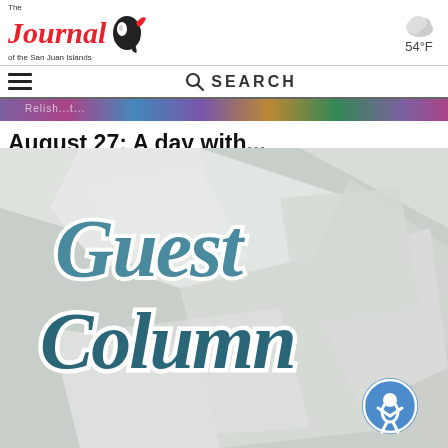[Figure (logo): The Journal of the San Juan Islands logo with red italic text and orca illustration]
[Figure (illustration): Cloud weather icon with temperature 54°F]
[Figure (screenshot): Search bar with hamburger menu icon]
[Figure (photo): Partial banner strip with colorful background]
August 27: A day with...
[Figure (photo): Guest Column graphic with teal script lettering on geometric paper background, with accessibility button overlay]